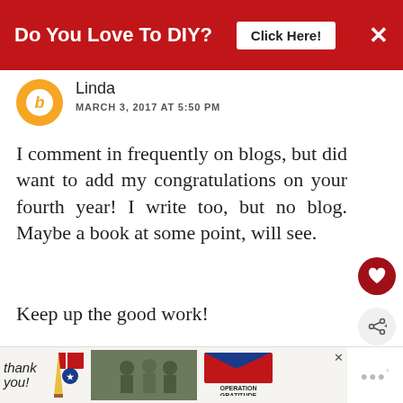[Figure (infographic): Red banner advertisement: 'Do You Love To DIY?' with white 'Click Here!' button and X close button]
Linda
MARCH 3, 2017 AT 5:50 PM
I comment in frequently on blogs, but did want to add my congratulations on your fourth year! I write too, but no blog. Maybe a book at some point, will see.

Keep up the good work!
REPLY DELETE
REPLIES
[Figure (infographic): Bottom advertisement banner: Thank you with Operation Gratitude logo]